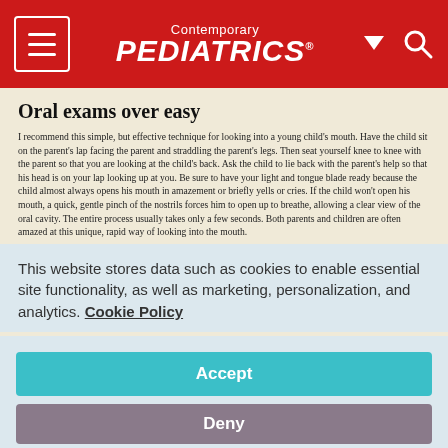Contemporary PEDIATRICS
Oral exams over easy
I recommend this simple, but effective technique for looking into a young child's mouth. Have the child sit on the parent's lap facing the parent and straddling the parent's legs. Then seat yourself knee to knee with the parent so that you are looking at the child's back. Ask the child to lie back with the parent's help so that his head is on your lap looking up at you. Be sure to have your light and tongue blade ready because the child almost always opens his mouth in amazement or briefly yells or cries. If the child won't open his mouth, a quick, gentle pinch of the nostrils forces him to open up to breathe, allowing a clear view of the oral cavity. The entire process usually takes only a few seconds. Both parents and children are often amazed at this unique, rapid way of looking into the mouth.
Scott A. Barson, MD
This website stores data such as cookies to enable essential site functionality, as well as marketing, personalization, and analytics. Cookie Policy
Accept
Deny